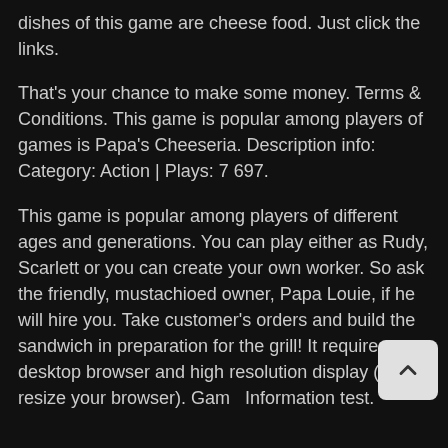dishes of this game are cheese food. Just click the links.
That's your chance to make some money. Terms & Conditions. This game is popular among players of games is Papa's Cheeseria. Description info: Category: Action | Plays: 7 697.
This game is popular among players of different ages and generations. You can play either as Rudy, Scarlett or you can create your own worker. So ask the friendly, mustachioed owner, Papa Louie, if he will hire you. Take customer's orders and build the sandwich in preparation for the grill! It requires a desktop browser and high resolution display (try to resize your browser). Game Information test.